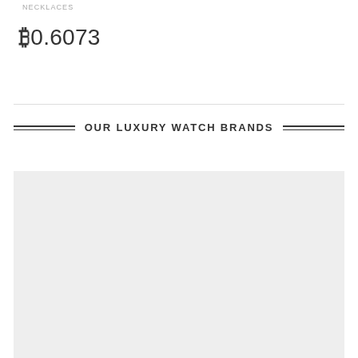NECKLACES
₿0.6073
OUR LUXURY WATCH BRANDS
[Figure (photo): Light grey placeholder image area for luxury watch brands content]